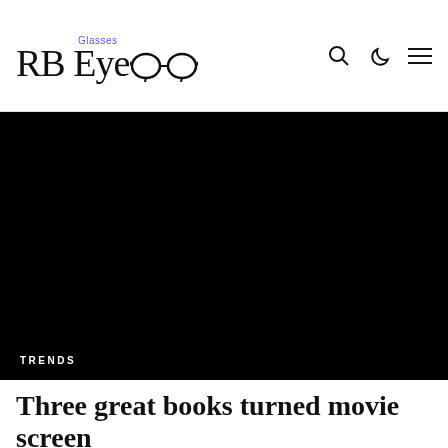RB Eye Glasses
[Figure (photo): Large black/dark hero image with 'TRENDS' label in white text at bottom-left]
Three great books turned movie screen